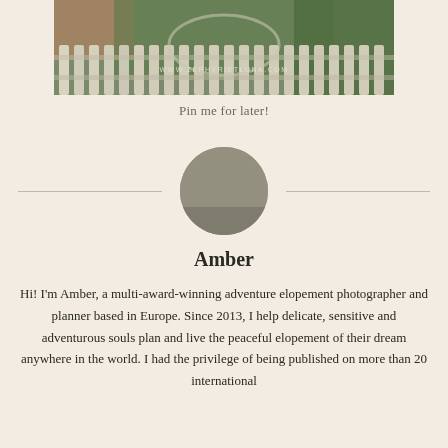[Figure (photo): Partial photograph showing a white picket fence with garden/greenery behind it and a watermark reading www.zephyrietluna.com]
Pin me for later!
[Figure (photo): Circular black and white portrait photo of Amber, a woman with long dark hair wearing a floral crown and light-colored dress, outdoors in a field]
Amber
Hi! I'm Amber, a multi-award-winning adventure elopement photographer and planner based in Europe. Since 2013, I help delicate, sensitive and adventurous souls plan and live the peaceful elopement of their dream anywhere in the world. I had the privilege of being published on more than 20 international